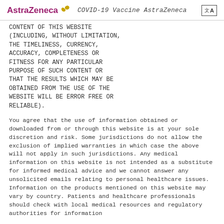AstraZeneca [logo]   COVID-19 Vaccine AstraZeneca   [icon]
CONTENT OF THIS WEBSITE (INCLUDING, WITHOUT LIMITATION, THE TIMELINESS, CURRENCY, ACCURACY, COMPLETENESS OR FITNESS FOR ANY PARTICULAR PURPOSE OF SUCH CONTENT OR THAT THE RESULTS WHICH MAY BE OBTAINED FROM THE USE OF THE WEBSITE WILL BE ERROR FREE OR RELIABLE).
You agree that the use of information obtained or downloaded from or through this website is at your sole discretion and risk. Some jurisdictions do not allow the exclusion of implied warranties in which case the above will not apply in such jurisdictions. Any medical information on this website is not intended as a substitute for informed medical advice and we cannot answer any unsolicited emails relating to personal healthcare issues. Information on the products mentioned on this website may vary by country. Patients and healthcare professionals should check with local medical resources and regulatory authorities for information